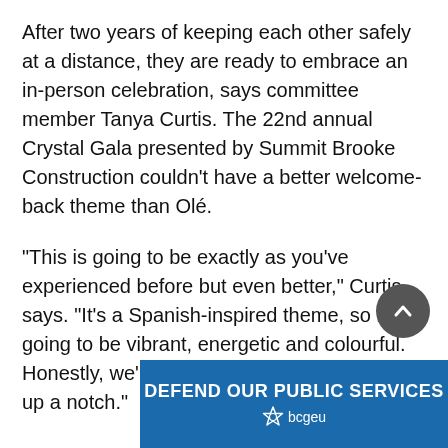After two years of keeping each other safely at a distance, they are ready to embrace an in-person celebration, says committee member Tanya Curtis. The 22nd annual Crystal Gala presented by Summit Brooke Construction couldn't have a better welcome-back theme than Olé.
“This is going to be exactly as you’ve experienced before but even better,” Curtis says. “It’s a Spanish-inspired theme, so it’s going to be vibrant, energetic and colourful. Honestly, we’re probably even going to step it up a notch.”
[Figure (logo): BCGEU banner: DEFEND OUR PUBLIC SERVICES with bcgeu star logo in white on blue background]